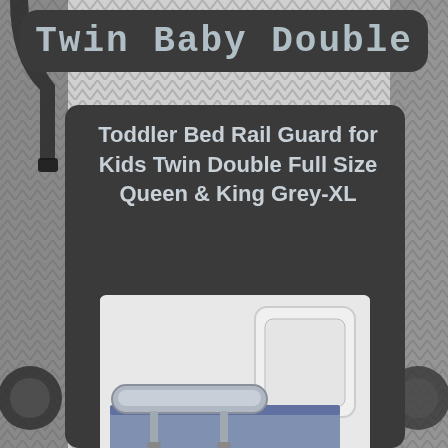Twin Baby Double
Toddler Bed Rail Guard for Kids Twin Double Full Size Queen & King Grey-XL
[Figure (photo): Product photo of a toddler bed rail guard (grey) installed on a bed frame with white headboard. eBay watermark at the bottom.]